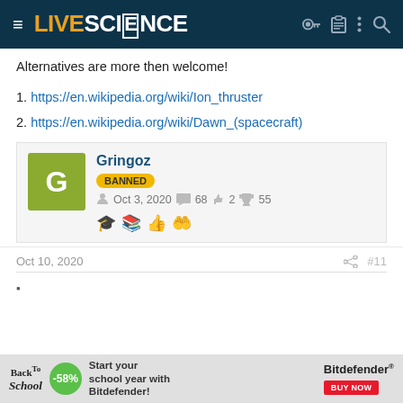LIVE SCIENCE
Alternatives are more then welcome!
1. https://en.wikipedia.org/wiki/Ion_thruster
2. https://en.wikipedia.org/wiki/Dawn_(spacecraft)
Gringoz | BANNED | Oct 3, 2020 | 68 messages | 2 likes | 55 trophies
Oct 10, 2020  #11
[Figure (screenshot): Advertisement banner: Back to School with Bitdefender -58% discount]